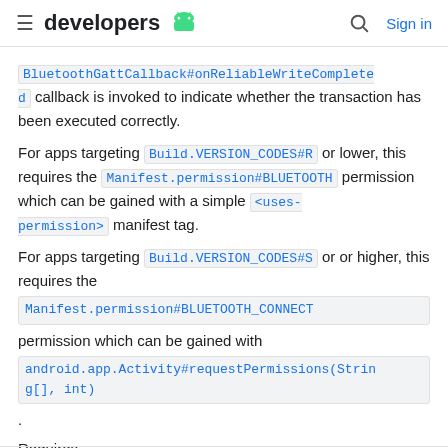developers
BluetoothGattCallback#onReliableWriteCompleted callback is invoked to indicate whether the transaction has been executed correctly.
For apps targeting Build.VERSION_CODES#R or lower, this requires the Manifest.permission#BLUETOOTH permission which can be gained with a simple <uses-permission> manifest tag.
For apps targeting Build.VERSION_CODES#S or or higher, this requires the Manifest.permission#BLUETOOTH_CONNECT permission which can be gained with android.app.Activity#requestPermissions(String[], int).
Requires android.Manifest.permission#BLUETOOTH_CONNECT